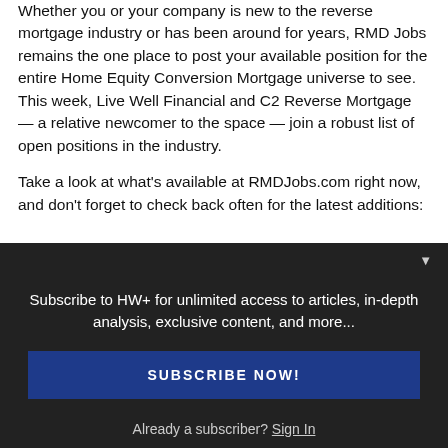Whether you or your company is new to the reverse mortgage industry or has been around for years, RMD Jobs remains the one place to post your available position for the entire Home Equity Conversion Mortgage universe to see. This week, Live Well Financial and C2 Reverse Mortgage — a relative newcomer to the space — join a robust list of open positions in the industry.
Take a look at what's available at RMDJobs.com right now, and don't forget to check back often for the latest additions:
Subscribe to HW+ for unlimited access to articles, in-depth analysis, exclusive content, and more...
SUBSCRIBE NOW!
Already a subscriber? Sign In